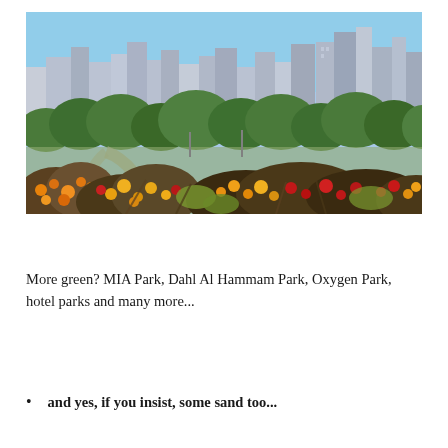[Figure (photo): Outdoor park scene with colorful flowers and shrubs in the foreground (orange, red, yellow blooms on bushy plants) and a city skyline with tall skyscrapers visible behind a line of green trees in the background, under a blue sky.]
More green? MIA Park, Dahl Al Hammam Park, Oxygen Park, hotel parks and many more...
and yes, if you insist, some sand too...